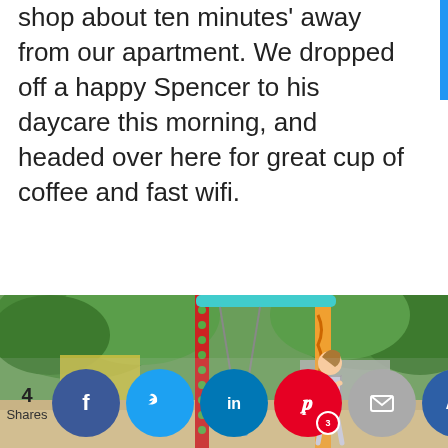shop about ten minutes' away from our apartment. We dropped off a happy Spencer to his daycare this morning, and headed over here for great cup of coffee and fast wifi.
[Figure (photo): A woman pushing a young child on a tire swing at an outdoor playground with colorful posts and trees in the background.]
[Figure (infographic): Social sharing bar showing 4 Shares with buttons for Facebook, Twitter, LinkedIn, Pinterest (3 shares), Email, and a crown/save button.]